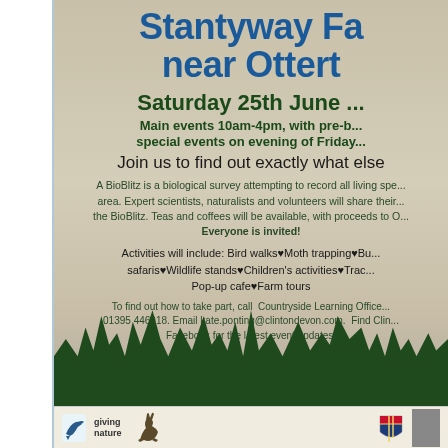Stantyway Fa... near Ottert...
Saturday 25th June ...
Main events 10am-4pm, with pre-b... special events on evening of Friday...
Join us to find out exactly what else
A BioBlitz is a biological survey attempting to record all living spe... area. Expert scientists, naturalists and volunteers will share their... the BioBlitz. Teas and coffees will be available, with proceeds to O... Everyone is invited!
Activities will include: Bird walks♥Moth trapping♥Bu... safaris♥Wildlife stands♥Children's activities♥Trac... Pop-up cafe♥Farm tours
To find out how to take part, call Countryside Learning Office... 01395 446918. Email kate.ponting@clintondevon.com. Find Clin... Facebook for the latest event updates.
[Figure (illustration): Dark green silhouette of farm landscape with animals, plants, tractor at bottom of poster]
[Figure (logo): Logos at bottom: giving nature bird logo, running hare illustration, shield/coat of arms logo]